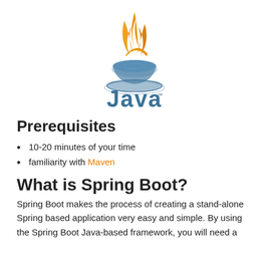[Figure (logo): Java programming language logo: orange flame steam above a blue coffee cup with saucer and blue 'Java' text below]
Prerequisites
10-20 minutes of your time
familiarity with Maven
What is Spring Boot?
Spring Boot makes the process of creating a stand-alone Spring based application very easy and simple. By using the Spring Boot Java-based framework, you will need a